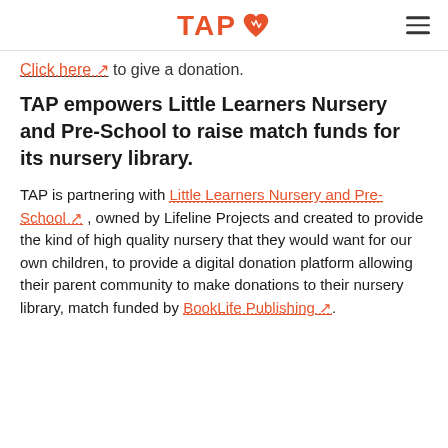TAP
Click here ↗ to give a donation.
TAP empowers Little Learners Nursery and Pre-School to raise match funds for its nursery library.
TAP is partnering with Little Learners Nursery and Pre-School ↗ , owned by Lifeline Projects and created to provide the kind of high quality nursery that they would want for our own children, to provide a digital donation platform allowing their parent community to make donations to their nursery library, match funded by BookLife Publishing ↗.